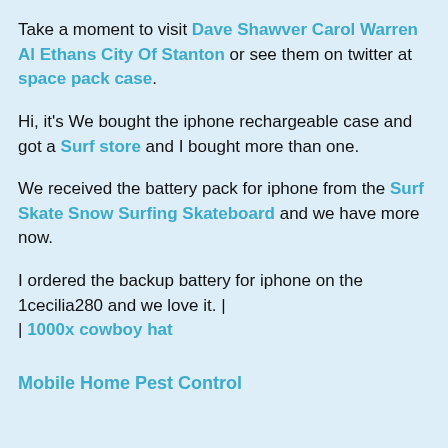Take a moment to visit Dave Shawver Carol Warren Al Ethans City Of Stanton or see them on twitter at space pack case.
Hi, it's We bought the iphone rechargeable case and got a Surf store and I bought more than one.
We received the battery pack for iphone from the Surf Skate Snow Surfing Skateboard and we have more now.
I ordered the backup battery for iphone on the 1cecilia280 and we love it. | | 1000x cowboy hat
Mobile Home Pest Control